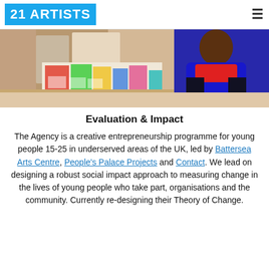21 ARTISTS
[Figure (photo): Person in blue jacket sitting at a table covered with colourful printed materials and artwork, in a room setting.]
Evaluation & Impact
The Agency is a creative entrepreneurship programme for young people 15-25 in underserved areas of the UK, led by Battersea Arts Centre, People's Palace Projects and Contact. We lead on designing a robust social impact approach to measuring change in the lives of young people who take part, organisations and the community. Currently re-designing their Theory of Change.